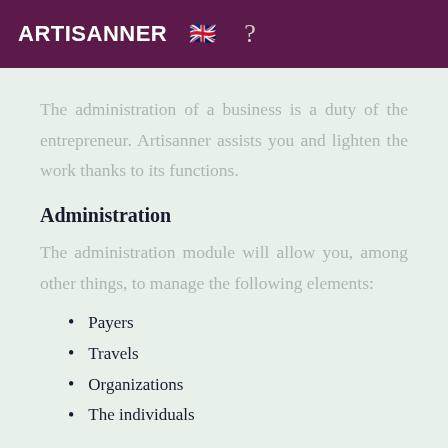ARTISANNER 🇬🇧 ?
The administration of a business is a duty of the entrepreneur. Artisanner assists you and lighten the work thanks to its functions.
Administration
The administration module will allow you, among other things, to manage the following elements:
Payers
Travels
Organizations
The individuals